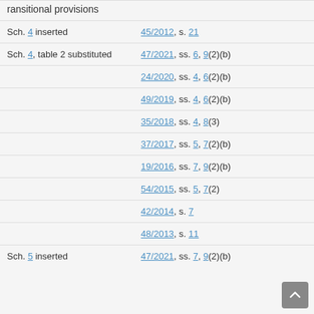| Provision | Source |
| --- | --- |
| ransitional provisions |  |
| Sch. 4 inserted | 45/2012, s. 21 |
| Sch. 4, table 2 substituted | 47/2021, ss. 6, 9(2)(b) |
|  | 24/2020, ss. 4, 6(2)(b) |
|  | 49/2019, ss. 4, 6(2)(b) |
|  | 35/2018, ss. 4, 8(3) |
|  | 37/2017, ss. 5, 7(2)(b) |
|  | 19/2016, ss. 7, 9(2)(b) |
|  | 54/2015, ss. 5, 7(2) |
|  | 42/2014, s. 7 |
|  | 48/2013, s. 11 |
| Sch. 5 inserted | 47/2021, ss. 7, 9(2)(b) |